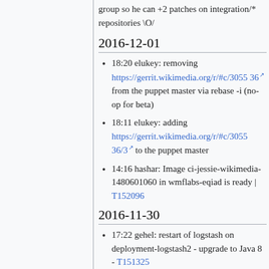group so he can +2 patches on integration/* repositories \O/
2016-12-01
18:20 elukey: removing https://gerrit.wikimedia.org/r/#c/305536 from the puppet master via rebase -i (no-op for beta)
18:11 elukey: adding https://gerrit.wikimedia.org/r/#c/305536/3 to the puppet master
14:16 hashar: Image ci-jessie-wikimedia-1480601060 in wmflabs-eqiad is ready | T152096
2016-11-30
17:22 gehel: restart of logstash on deployment-logstash2 - upgrade to Java 8 - T151325